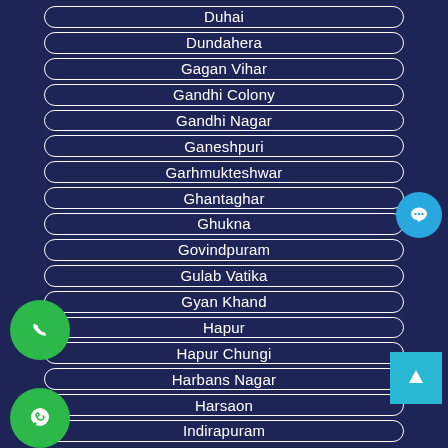Duhai
Dundahera
Gagan Vihar
Gandhi Colony
Gandhi Nagar
Ganeshpuri
Garhmukteshwar
Ghantaghar
Ghukna
Govindpuram
Gulab Vatika
Gyan Khand
Hapur
Hapur Chungi
Harbans Nagar
Harsaon
Indirapuram